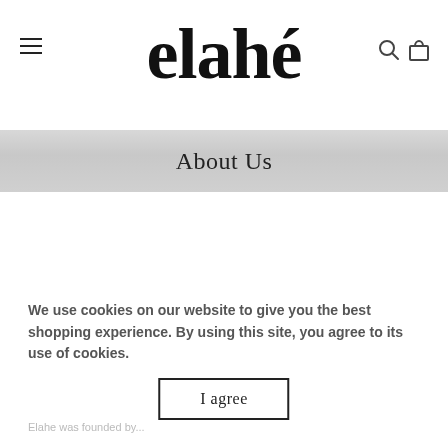elahé
About Us
We use cookies on our website to give you the best shopping experience. By using this site, you agree to its use of cookies.
I agree